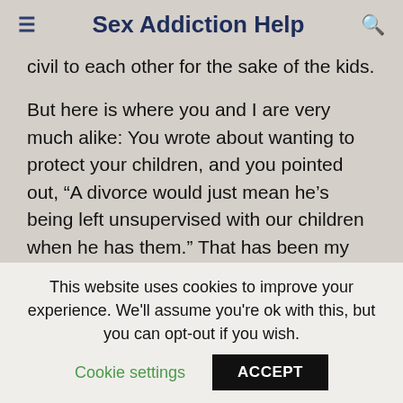Sex Addiction Help
civil to each other for the sake of the kids.

But here is where you and I are very much alike: You wrote about wanting to protect your children, and you pointed out, “A divorce would just mean he’s being left unsupervised with our children when he has them.” That has been my main
This website uses cookies to improve your experience. We'll assume you're ok with this, but you can opt-out if you wish.
Cookie settings    ACCEPT